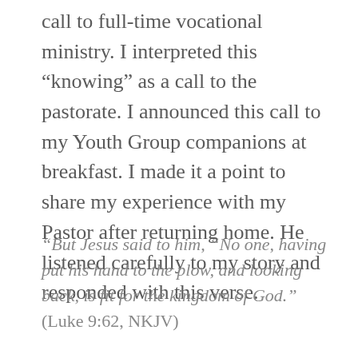call to full-time vocational ministry. I interpreted this “knowing” as a call to the pastorate. I announced this call to my Youth Group companions at breakfast. I made it a point to share my experience with my Pastor after returning home. He listened carefully to my story and responded with this verse.
“But Jesus said to him, “No one, having put his hand to the plow, and looking back, is fit for the kingdom of God.” (Luke 9:62, NKJV)